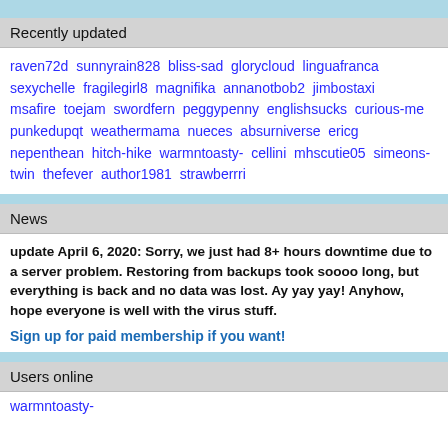Recently updated
raven72d sunnyrain828 bliss-sad glorycloud linguafranca sexychelle fragilegirl8 magnifika annanotbob2 jimbostaxi msafire toejam swordfern peggypenny englishsucks curious-me punkedupqt weathermama nueces absurniverse ericg nepenthean hitch-hike warmntoasty- cellini mhscutie05 simeons-twin thefever author1981 strawberrri
News
update April 6, 2020: Sorry, we just had 8+ hours downtime due to a server problem. Restoring from backups took soooo long, but everything is back and no data was lost. Ay yay yay! Anyhow, hope everyone is well with the virus stuff.
Sign up for paid membership if you want!
Users online
warmntoasty-